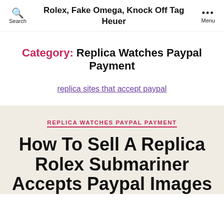Rolex, Fake Omega, Knock Off Tag Heuer
Category: Replica Watches Paypal Payment
replica sites that accept paypal
REPLICA WATCHES PAYPAL PAYMENT
How To Sell A Replica Rolex Submariner Accepts Paypal Images